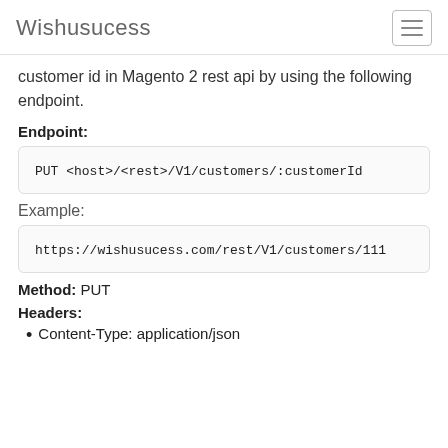Wishusucess
customer id in Magento 2 rest api by using the following endpoint.
Endpoint:
PUT <host>/<rest>/V1/customers/:customerId
Example:
https://wishusucess.com/rest/V1/customers/111
Method: PUT
Headers:
Content-Type: application/json